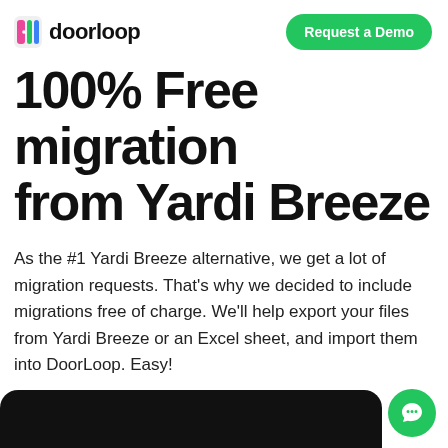doorloop | Request a Demo
100% Free migration from Yardi Breeze
As the #1 Yardi Breeze alternative, we get a lot of migration requests. That's why we decided to include migrations free of charge. We'll help export your files from Yardi Breeze or an Excel sheet, and import them into DoorLoop. Easy!
[Figure (screenshot): Black rounded bar at bottom of page, representing a screenshot/app preview area]